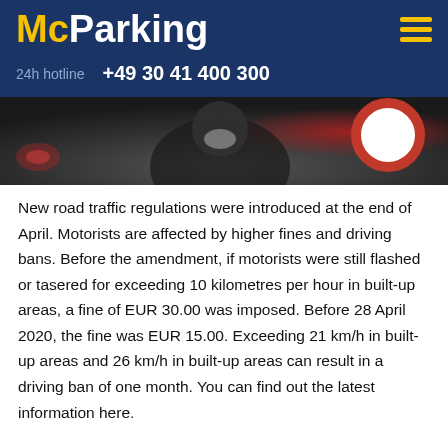McParking
24h hotline   +49 30 41 400 300
[Figure (photo): A person wearing a mask near a red circular road sign, in a dark setting.]
New road traffic regulations were introduced at the end of April. Motorists are affected by higher fines and driving bans. Before the amendment, if motorists were still flashed or tasered for exceeding 10 kilometres per hour in built-up areas, a fine of EUR 30.00 was imposed. Before 28 April 2020, the fine was EUR 15.00. Exceeding 21 km/h in built-up areas and 26 km/h in built-up areas can result in a driving ban of one month. You can find out the latest information here.